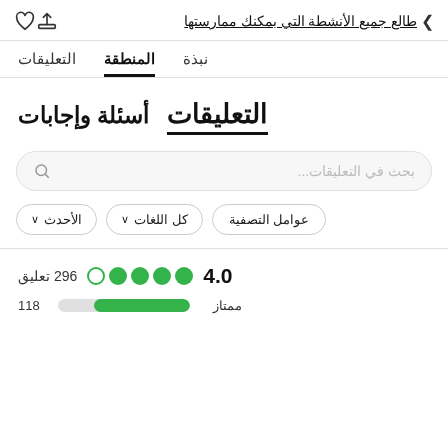طالع جميع الأنشطة التي بمكنك ممارستها
نبذة   المنطقة   التعليقات
التعليقات   أسئلة وإجابات
بحث في التعليقات...
عوامل التصفية   كل اللغات ∨   الأحدث ∨
4.0  ●●●●○  296 تعليق
ممتاز  ████████  118